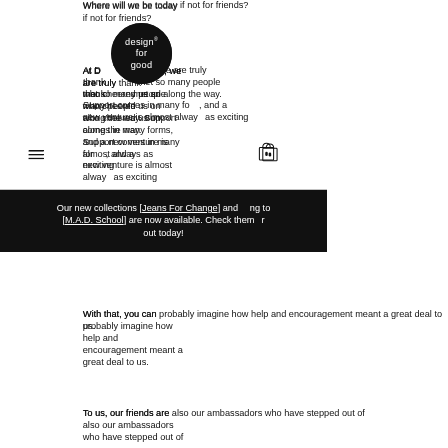Where will we be today if not for friends?
[Figure (logo): Circular black logo with white text reading 'design for good' with registered trademark symbol]
At Design For Good, we are truly thankful to have met so many people who cheered us on along the way. Support comes in many forms, and a new venture is almost always as exciting
Our new collections [Jeans For Change] and [M.A.D. School] are now available. Check them out today!
With that, you can probably imagine how help and encouragement meant a great deal to us.
To us, our friends are also our ambassadors who have stepped out of